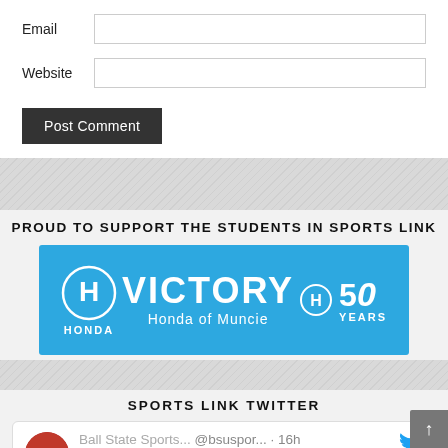Email
Website
Post Comment
PROUD TO SUPPORT THE STUDENTS IN SPORTS LINK
[Figure (logo): Victory Honda of Muncie banner ad with Honda logo and 50 Years badge on blue background]
SPORTS LINK TWITTER
Ball State Sports... @bsuspor... · 16h